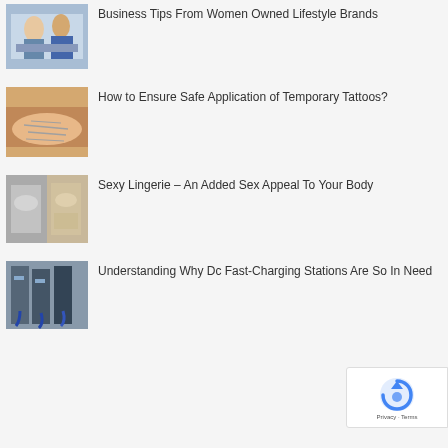[Figure (photo): Two women in a business meeting setting, looking at documents]
Business Tips From Women Owned Lifestyle Brands
[Figure (photo): A person applying a temporary tattoo to their wrist/arm]
How to Ensure Safe Application of Temporary Tattoos?
[Figure (photo): Collage of lingerie images]
Sexy Lingerie – An Added Sex Appeal To Your Body
[Figure (photo): DC fast charging stations with cables and equipment]
Understanding Why Dc Fast-Charging Stations Are So In Need